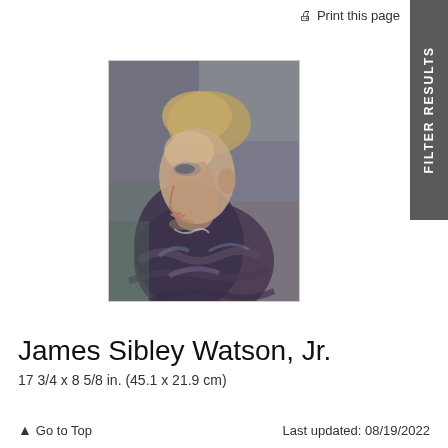Print this page
[Figure (illustration): A painted portrait of a young man shown in profile (facing left), with blond hair and wearing dark clothing. The painting style is expressive with loose brushwork and muted blue, brown, and purple tones.]
James Sibley Watson, Jr.
17 3/4 x 8 5/8 in. (45.1 x 21.9 cm)
Go to Top   Last updated: 08/19/2022